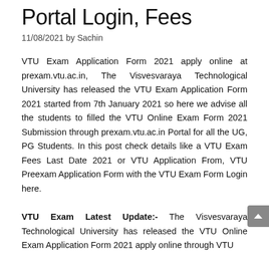Portal Login, Fees
11/08/2021 by Sachin
VTU Exam Application Form 2021 apply online at prexam.vtu.ac.in, The Visvesvaraya Technological University has released the VTU Exam Application Form 2021 started from 7th January 2021 so here we advise all the students to filled the VTU Online Exam Form 2021 Submission through prexam.vtu.ac.in Portal for all the UG, PG Students. In this post check details like a VTU Exam Fees Last Date 2021 or VTU Application From, VTU Preexam Application Form with the VTU Exam Form Login here.
VTU Exam Latest Update:- The Visvesvaraya Technological University has released the VTU Online Exam Application Form 2021 apply online through VTU